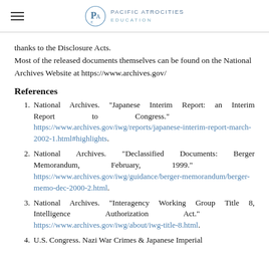Pacific Atrocities Education
thanks to the Disclosure Acts.
Most of the released documents themselves can be found on the National Archives Website at https://www.archives.gov/
References
1. National Archives. "Japanese Interim Report: an Interim Report to Congress." https://www.archives.gov/iwg/reports/japanese-interim-report-march-2002-1.html#highlights.
2. National Archives. "Declassified Documents: Berger Memorandum, February, 1999." https://www.archives.gov/iwg/guidance/berger-memorandum/berger-memo-dec-2000-2.html.
3. National Archives. "Interagency Working Group Title 8, Intelligence Authorization Act." https://www.archives.gov/iwg/about/iwg-title-8.html.
4. U.S. Congress. Nazi War Crimes & Japanese Imperial